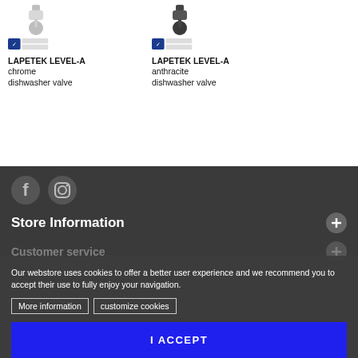[Figure (photo): LAPETEK LEVEL-A chrome dishwasher valve product image with certification badge]
LAPETEK LEVEL-A
chrome
dishwasher valve
[Figure (photo): LAPETEK LEVEL-A anthracite dishwasher valve product image with certification badge]
LAPETEK LEVEL-A
anthracite
dishwasher valve
[Figure (infographic): Social media icons: Facebook and Instagram on dark background]
Store Information
Our webstore uses cookies to offer a better user experience and we recommend you to accept their use to fully enjoy your navigation.
More information    customize cookies
I ACCEPT